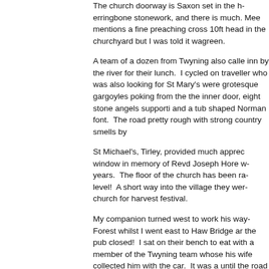The church doorway is Saxon set in the herringbone stonework, and there is much. Mee mentions a fine preaching cross 10ft head in the churchyard but I was told it was green.
A team of a dozen from Twyning also called inn by the river for their lunch. I cycled on traveller who was also looking for St Mary's were grotesque gargoyles poking from the the inner door, eight stone angels supporting and a tub shaped Norman font. The road pretty rough with strong country smells by
St Michael's, Tirley, provided much appreciated window in memory of Revd Joseph Hore years. The floor of the church has been raised level! A short way into the village they were church for harvest festival.
My companion turned west to work his way Forest whilst I went east to Haw Bridge and the pub closed! I sat on their bench to eat with a member of the Twyning team whose his wife collected him with the car. It was until the road started to rise to Apperley; by